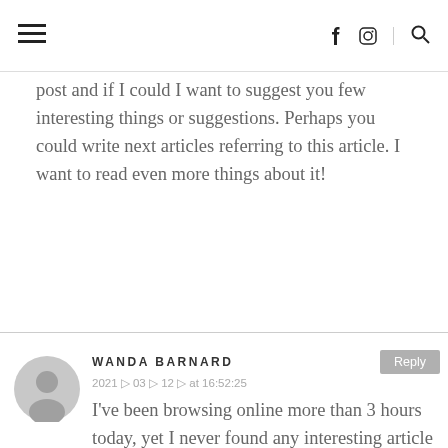≡  f  [instagram]  [search]
post and if I could I want to suggest you few interesting things or suggestions. Perhaps you could write next articles referring to this article. I want to read even more things about it!
WANDA BARNARD
2021 ▷ 03 ▷ 12 ▷ at 16:52:25
I've been browsing online more than 3 hours today, yet I never found any interesting article like yours. It